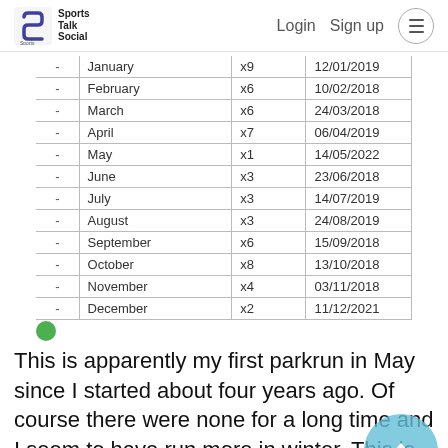Sports Talk Social | Login  Sign up
| - | January | x9 | 12/01/2019 |
| - | February | x6 | 10/02/2018 |
| - | March | x6 | 24/03/2018 |
| - | April | x7 | 06/04/2019 |
| - | May | x1 | 14/05/2022 |
| - | June | x3 | 23/06/2018 |
| - | July | x3 | 14/07/2019 |
| - | August | x3 | 24/08/2019 |
| - | September | x6 | 15/09/2018 |
| - | October | x8 | 13/10/2018 |
| - | November | x4 | 03/11/2018 |
| - | December | x2 | 11/12/2021 |
This is apparently my first parkrun in May since I started about four years ago. Of course there were none for a long time and I seem to have run more in winter. This is from the Running Challenges browser extension that gives you lots of extra statistics. They have various challenges around parkrun tourism, but I have